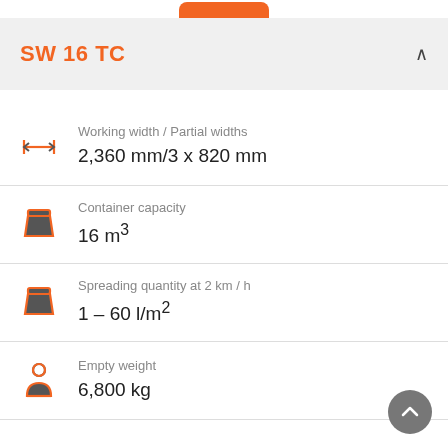SW 16 TC
Working width / Partial widths: 2,360 mm/3 x 820 mm
Container capacity: 16 m³
Spreading quantity at 2 km / h: 1 – 60 l/m²
Empty weight: 6,800 kg